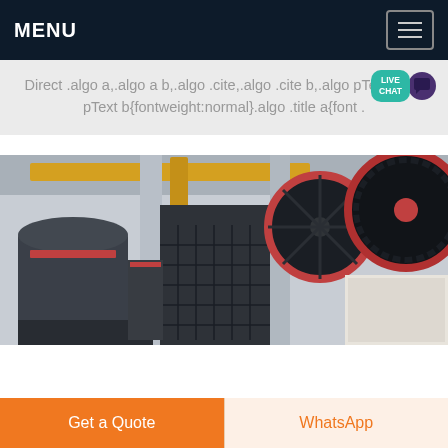MENU
Direct .algo a,.algo a b,.algo .cite,.algo .cite b,.algo pText,.algo pText b{fontweight:normal}.algo .title a{font .
[Figure (photo): Industrial machinery in a factory setting showing large jaw crusher equipment with red-rimmed flywheels, black metal frames, and yellow structural beams in the background.]
Get a Quote
WhatsApp